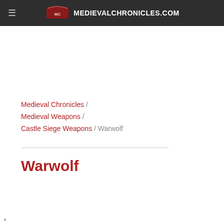MEDIEVALCHRONICLES.COM
Medieval Chronicles / Medieval Weapons / Castle Siege Weapons / Warwolf
Warwolf
x